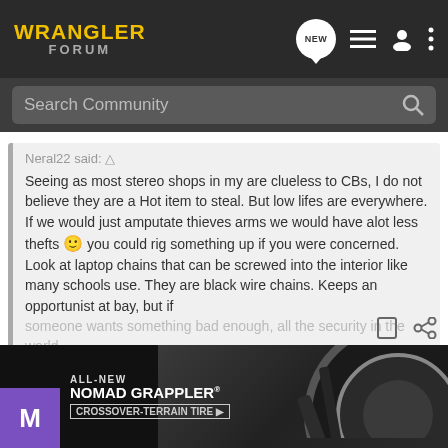WRANGLER FORUM
Neral22 said: ↑
Seeing as most stereo shops in my are clueless to CBs, I do not believe they are a Hot item to steal. But low lifes are everywhere. If we would just amputate thieves arms we would have alot less thefts 🙂 you could rig something up if you were concerned. Look at laptop chains that can be screwed into the interior like many schools use. They are black wire chains. Keeps an opportunist at bay, but if someone wants something bad enough, all the security in the world...
Click to expand...
Good point. I looked at the laptop chains. I'm not too crazy about them.
[Figure (photo): Nitto ALL-NEW NOMAD GRAPPLER CROSSOVER-TERRAIN TIRE advertisement banner with tire image]